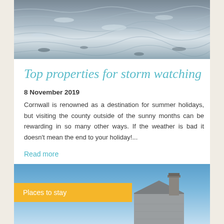[Figure (photo): Stormy sea with rough waves, grey-blue tones, seen from above]
Top properties for storm watching
8 November 2019
Cornwall is renowned as a destination for summer holidays, but visiting the county outside of the sunny months can be rewarding in so many other ways. If the weather is bad it doesn't mean the end to your holiday!...
Read more
[Figure (photo): Clear blue sky with a stone cottage roof and chimney visible in the lower right, with a yellow 'Places to stay' label overlay]